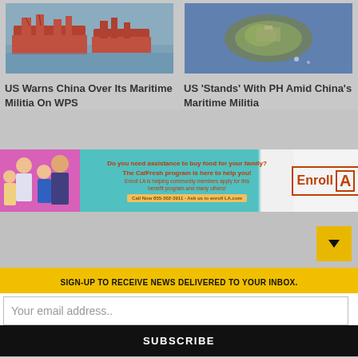[Figure (photo): Photo of Chinese maritime militia ships on water]
[Figure (photo): Aerial photo of a small island or reef in the South China Sea]
US Warns China Over Its Maritime Militia On WPS
US 'Stands' With PH Amid China's Maritime Militia
[Figure (infographic): Advertisement banner: Enroll LA - CalFresh program assistance for food. Do you need assistance to buy food for your family? The CalFresh program is here to help you! Enroll LA is helping community members apply for this benefit program and many others! Call Now 855-302-3911. Ask us to enroll LA.com]
SIGN-UP TO RECEIVE NEWS DELIVERED TO YOUR INBOX.
Your email address..
SUBSCRIBE